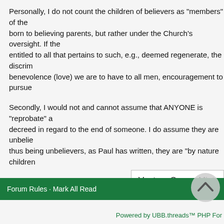Personally, I do not count the children of believers as "members" of the born to believing parents, but rather under the Church's oversight. If the entitled to all that pertains to such, e.g., deemed regenerate, the discrim benevolence (love) we are to have to all men, encouragement to pursue
Secondly, I would not and cannot assume that ANYONE is "reprobate" a decreed in regard to the end of someone. I do assume they are unbelie thus being unbelievers, as Paul has written, they are "by nature children
In His grace,
[Figure (other): Button labeled 'Ventura Open - Mint' with white background and border]
Forum Rules · Mark All Read
Powered by UBB.threads™ PHP For